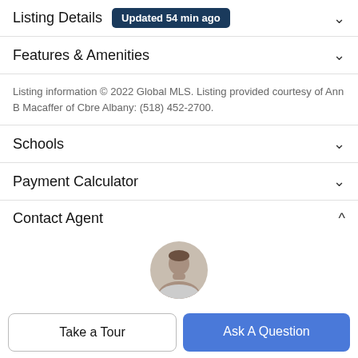Listing Details Updated 54 min ago
Features & Amenities
Listing information © 2022 Global MLS. Listing provided courtesy of Ann B Macaffer of Cbre Albany: (518) 452-2700.
Schools
Payment Calculator
Contact Agent
[Figure (photo): Circular headshot photo of a male agent with short brown hair]
Take a Tour
Ask A Question